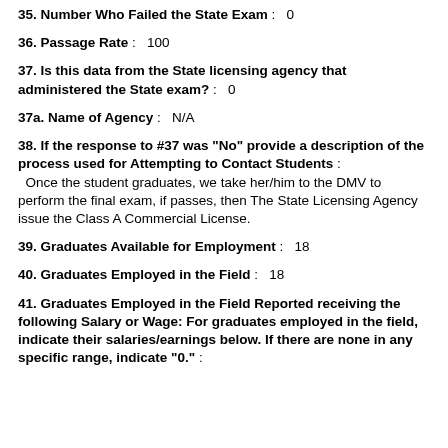35. Number Who Failed the State Exam : 0
36. Passage Rate : 100
37. Is this data from the State licensing agency that administered the State exam? : 0
37a. Name of Agency : N/A
38. If the response to #37 was "No" provide a description of the process used for Attempting to Contact Students : Once the student graduates, we take her/him to the DMV to perform the final exam, if passes, then The State Licensing Agency issue the Class A Commercial License.
39. Graduates Available for Employment : 18
40. Graduates Employed in the Field : 18
41. Graduates Employed in the Field Reported receiving the following Salary or Wage: For graduates employed in the field, indicate their salaries/earnings below. If there are none in any specific range, indicate "0." :